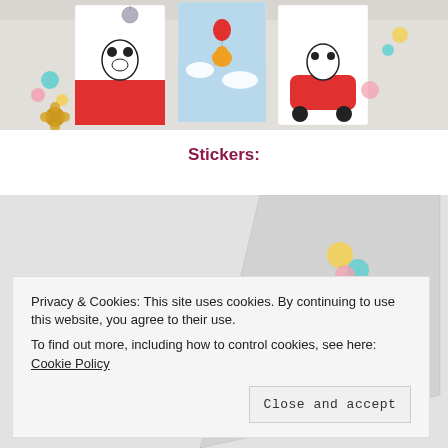[Figure (photo): Photo of three illustrated greeting cards featuring panda and chick characters, surrounded by colorful confetti circles and a gold flower decoration on a light background.]
Stickers:
[Figure (photo): Photo of a light grey background with colorful confetti circles (yellow, teal, pink) scattered around, and a gold flower decoration visible in the corner. A partial diagonal element is visible.]
Privacy & Cookies: This site uses cookies. By continuing to use this website, you agree to their use.
To find out more, including how to control cookies, see here: Cookie Policy
Close and accept